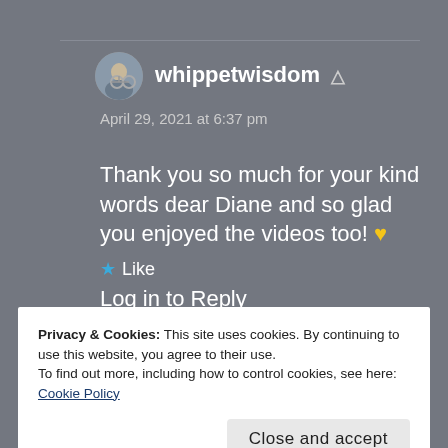[Figure (photo): Small circular avatar photo of a person on a bicycle]
whippetwisdom (user icon)
April 29, 2021 at 6:37 pm
Thank you so much for your kind words dear Diane and so glad you enjoyed the videos too! 💛
★ Like
Log in to Reply
Privacy & Cookies: This site uses cookies. By continuing to use this website, you agree to their use.
To find out more, including how to control cookies, see here: Cookie Policy
Close and accept